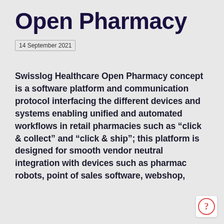Open Pharmacy
14 September 2021
Swisslog Healthcare Open Pharmacy concept is a software platform and communication protocol interfacing the different devices and systems enabling unified and automated workflows in retail pharmacies such as “click & collect” and “click & ship”; this platform is designed for smooth vendor neutral integration with devices such as pharmacy robots, point of sales software, webshop,